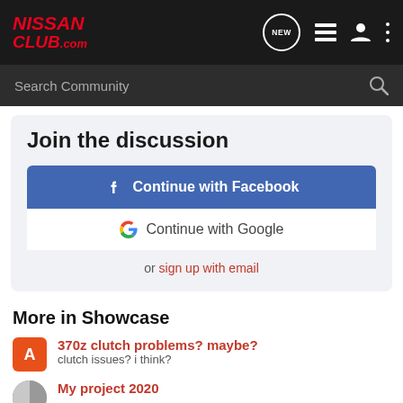NISSAN CLUB.com
Search Community
Join the discussion
Continue with Facebook
Continue with Google
or sign up with email
More in Showcase
370z clutch problems? maybe?
clutch issues? i think?
My project 2020